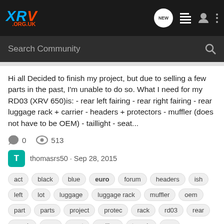XRV .ORG.UK
Hi all Decided to finish my project, but due to selling a few parts in the past, I'm unable to do so. What I need for my RD03 (XRV 650)is: - rear left fairing - rear right fairing - rear luggage rack + carrier - headers + protectors - muffler (does not have to be OEM) - taillight - seat...
0   513
thomasrs50 · Sep 28, 2015
act  black  blue  euro  forum  headers  ish  left  lot  luggage  luggage rack  muffler  oem  part  parts  project  protec  rack  rd03  rear  rough  sea  seat  selling  trough  xrv
Anyone used the Brittany Ferries Economic service